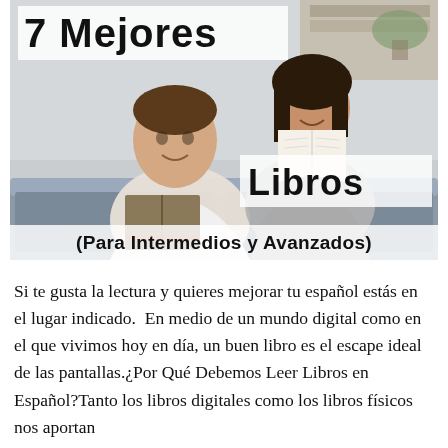[Figure (photo): Two people (a man and a woman) sitting on a couch reading books, with text overlaid: '7 Mejores' at top left, 'Libros' at bottom right of photo, '(Para Intermedios y Avanzados)' as a banner at the bottom of the image.]
Si te gusta la lectura y quieres mejorar tu español estás en el lugar indicado.  En medio de un mundo digital como en el que vivimos hoy en día, un buen libro es el escape ideal de las pantallas.¿Por Qué Debemos Leer Libros en Español?Tanto los libros digitales como los libros físicos nos aportan